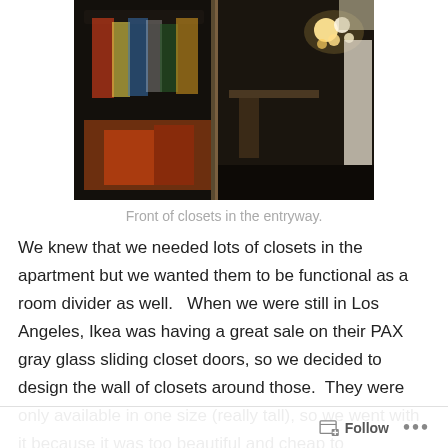[Figure (photo): Interior photo of sliding glass closet doors in an entryway, showing clothes hanging inside on the left and a room reflected in the mirror doors on the right, with warm lighting visible.]
Front of closets in the entryway.
We knew that we needed lots of closets in the apartment but we wanted them to be functional as a room divider as well.   When we were still in Los Angeles, Ikea was having a great sale on their PAX gray glass sliding closet doors, so we decided to design the wall of closets around those.  They were only available in one size (really tall), so we went with it because it was too beautiful and cheap to
Follow ...